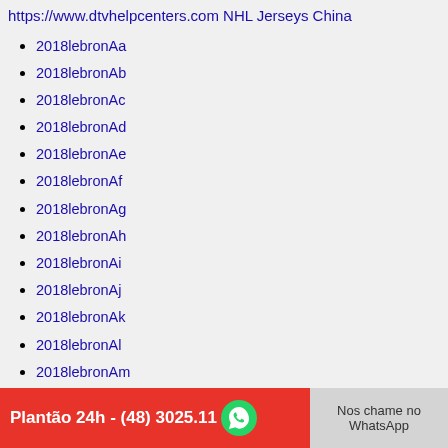https://www.dtvhelpcenters.com NHL Jerseys China
2018lebronAa
2018lebronAb
2018lebronAc
2018lebronAd
2018lebronAe
2018lebronAf
2018lebronAg
2018lebronAh
2018lebronAi
2018lebronAj
2018lebronAk
2018lebronAl
2018lebronAm
2018lebronAn
2018lebronAo
2018lebronAp
2018lebronAq
2018lebronAr
Plantão 24h - (48) 3025.11...
Nos chame no WhatsApp